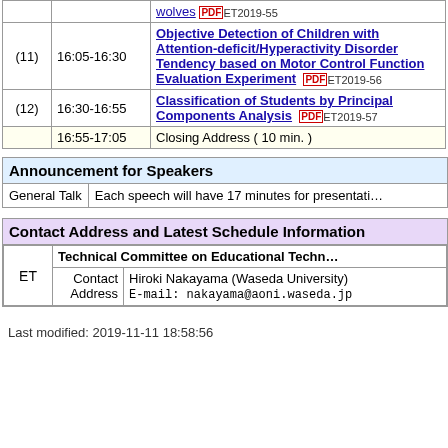| # | Time | Title |
| --- | --- | --- |
|  |  | wolves ET2019-55 |
| (11) | 16:05-16:30 | Objective Detection of Children with Attention-deficit/Hyperactivity Disorder Tendency based on Motor Control Function Evaluation Experiment ET2019-56 |
| (12) | 16:30-16:55 | Classification of Students by Principal Components Analysis ET2019-57 |
|  | 16:55-17:05 | Closing Address ( 10 min. ) |
| Announcement for Speakers |
| --- |
| General Talk | Each speech will have 17 minutes for presentation |
| Contact Address and Latest Schedule Information |
| --- |
| ET | Technical Committee on Educational Technology |  |  |
| ET | Contact Address | Hiroki Nakayama (Waseda University) | E-mail: nakayama@aoni.waseda.jp |
Last modified: 2019-11-11 18:58:56